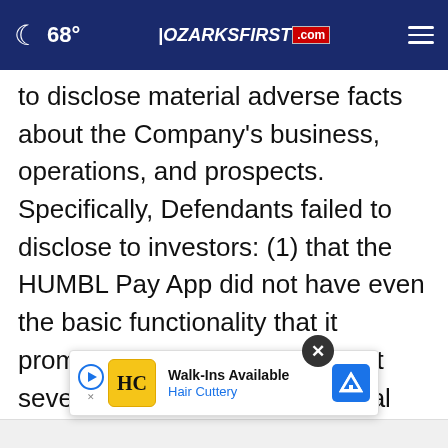68° OZARKSFIRST.com
to disclose material adverse facts about the Company's business, operations, and prospects. Specifically, Defendants failed to disclose to investors: (1) that the HUMBL Pay App did not have even the basic functionality that it promised investors; and (2) that several of its hyped international business partnerships had a very low chance of contributing material revenues to the Company's bottom line; and (3) as a result, Defendants' statements about its busin...
[Figure (screenshot): Advertisement overlay for Hair Cuttery showing walk-ins available, with close button (X), play button, HC logo, and navigation icon]